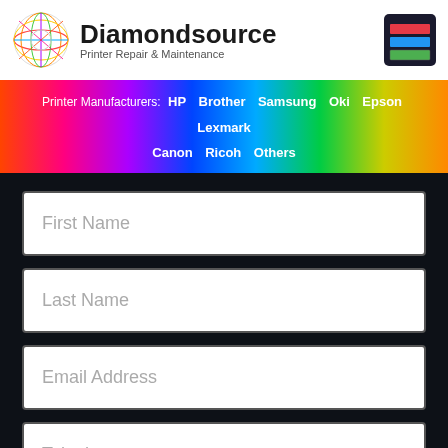[Figure (logo): Diamondsource logo with colorful diamond graphic and printer icon]
Printer Manufacturers: HP Brother Samsung Oki Epson Lexmark Canon Ricoh Others
First Name
Last Name
Email Address
Telephone
Mobile